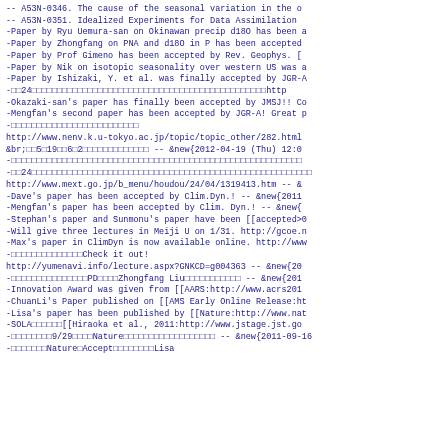-- A53N-0346. The cause of the seasonal variation in the o
-- A53N-0351. Idealized Experiments for Data Assimilation
-Paper by Ryu Uemura-san on Okinawan precip d18O has been a
-Paper by Zhongfang on PNA and d18O in P has been accepted
-Paper by Prof Gimeno has been accepted by Rev. Geophys. [
-Paper by Nik on isotopic seasonality over western US was a
-Paper by Ishizaki, Y. et al. was finally accepted by JGR-A
-□□24□□□□□□□□□□□□□□□□□□□□□□□□□□□□□□□□□□□□□□□□□□□http
-Okazaki-san's paper has finally been accepted by JMSJ!! Co
-Mengfan's second paper has been accepted by JGR-A! Great p
-□□□□□□□□□□□□□□□□□□□□□□□□□
http://www.nenv.k.u-tokyo.ac.jp/topic/topic_other/282.html
&br;□□5□19□□6□2□□□□□□□□□□□□□  --  &new{2012-04-19 (Thu) 12:0
-□□□□□□□□□□□□□□□□□□□□□□□□□□□□□□□□□□□□□□□□□□□□□□□□□□□□□□□□
-□□24□□□□□□□□□□□□□□□□□□□□□□□□□□□□□□□□□□□□□□□□□□□□□□□□□□□□
http://www.mext.go.jp/b_menu/houdou/24/04/1319413.htm  --  &
-Dave's paper has been accepted by Clim.Dyn.!  --  &new{2011
-Mengfan's paper has been accepted by Clim. Dyn.!  --  &new{
-Stephan's paper and Sunmonu's paper have been [[accepted>0
-Will give three lectures in Meiji U on 1/31. http://gcoe.n
-Max's paper in ClimDyn is now available online. http://www
-□□□□□□□□□□□□□□Check it out!
http://yumenavi.info/lecture.aspx?GNKCD=g004363  --  &new{20
-□□□□□□□□□□□□□□□PD□□□□Zhongfang Liu□□□□□□□□□□□  --  &new{201
-Innovation Award was given from [[AARS:http://www.acrs201
-ChuanLi's Paper published on [[AMS Early Online Release:ht
-Lisa's paper has been published by [[Nature:http://www.nat
-SOLA□□□□□□□[[Hiraoka et al., 2011:http://www.jstage.jst.go
-□□□□□□□□9/29□□□□Nature□□□□□□□□□□□□□□□□□□  --  &new{2011-09-16
-□□□□□□□Nature□Accept□□□□□□□□Lisa